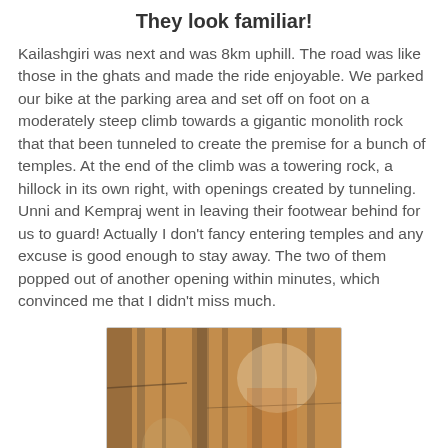They look familiar!
Kailashgiri was next and was 8km uphill. The road was like those in the ghats and made the ride enjoyable. We parked our bike at the parking area and set off on foot on a moderately steep climb towards a gigantic monolith rock that that been tunneled to create the premise for a bunch of temples. At the end of the climb was a towering rock, a hillock in its own right, with openings created by tunneling. Unni and Kempraj went in leaving their footwear behind for us to guard! Actually I don't fancy entering temples and any excuse is good enough to stay away. The two of them popped out of another opening within minutes, which convinced me that I didn't miss much.
[Figure (photo): Close-up photograph of a rocky stone surface with orange, tan and grey coloration showing natural striations and weathering patterns of a monolith rock face.]